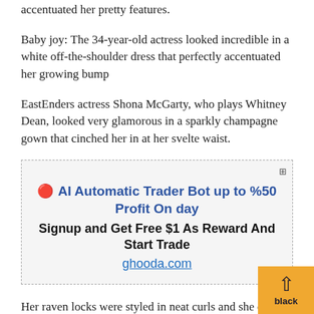accentuated her pretty features.
Baby joy: The 34-year-old actress looked incredible in a white off-the-shoulder dress that perfectly accentuated her growing bump
EastEnders actress Shona McGarty, who plays Whitney Dean, looked very glamorous in a sparkly champagne gown that cinched her in at her svelte waist.
[Figure (other): Advertisement banner: AI Automatic Trader Bot up to %50 Profit On day. Signup and Get Free $1 As Reward And Start Trade. ghooda.com]
Her raven locks were styled in neat curls and she donned an eye-catching pearl encrusted ear cuff and pink lipgloss.
Pregnant Julia Goulding, 37, donned a figure-hugging black velvet gown, which featured a bardot neckline and a swirl